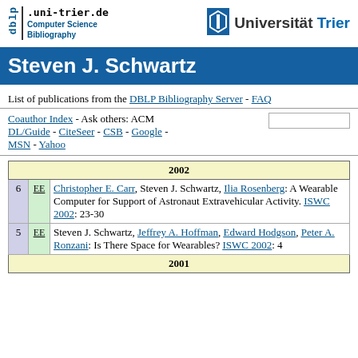dblp .uni-trier.de Computer Science Bibliography | Universität Trier
Steven J. Schwartz
List of publications from the DBLP Bibliography Server - FAQ
Coauthor Index - Ask others: ACM DL/Guide - CiteSeer - CSB - Google - MSN - Yahoo
| # | EE | Reference |
| --- | --- | --- |
| 2002 |  |  |
| 6 | EE | Christopher E. Carr, Steven J. Schwartz, Ilia Rosenberg: A Wearable Computer for Support of Astronaut Extravehicular Activity. ISWC 2002: 23-30 |
| 5 | EE | Steven J. Schwartz, Jeffrey A. Hoffman, Edward Hodgson, Peter A. Ronzani: Is There Space for Wearables? ISWC 2002: 4 |
| 2001 |  |  |